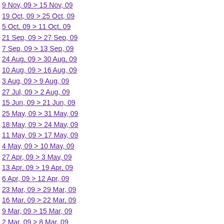9 Nov, 09 > 15 Nov, 09
19 Oct, 09 > 25 Oct, 09
5 Oct, 09 > 11 Oct, 09
21 Sep, 09 > 27 Sep, 09
7 Sep, 09 > 13 Sep, 09
24 Aug, 09 > 30 Aug, 09
10 Aug, 09 > 16 Aug, 09
3 Aug, 09 > 9 Aug, 09
27 Jul, 09 > 2 Aug, 09
15 Jun, 09 > 21 Jun, 09
25 May, 09 > 31 May, 09
18 May, 09 > 24 May, 09
11 May, 09 > 17 May, 09
4 May, 09 > 10 May, 09
27 Apr, 09 > 3 May, 09
13 Apr, 09 > 19 Apr, 09
6 Apr, 09 > 12 Apr, 09
23 Mar, 09 > 29 Mar, 09
16 Mar, 09 > 22 Mar, 09
9 Mar, 09 > 15 Mar, 09
2 Mar, 09 > 8 Mar, 09
23 Feb, 09 > 1 Mar, 09
16 Feb, 09 > 22 Feb, 09
9 Feb, 09 > 15 Feb, 09
2 Feb, 09 > 8 Feb, 09
26 Jan, 09 > 1 Feb, 09
19 Jan, 09 > 25 Jan, 09
12 Jan, 09 > 18 Jan, 09
maybe not that many hats :).  But seriously, by wearing different hats I mean I am trying to accomplish many different things simultaneously.  My success with doing that certainly varies from time to time and week to week